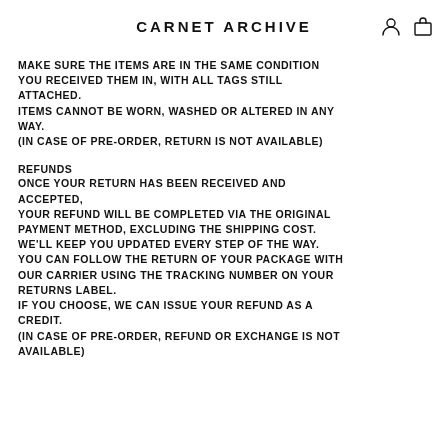CARNET ARCHIVE
MAKE SURE THE ITEMS ARE IN THE SAME CONDITION YOU RECEIVED THEM IN, WITH ALL TAGS STILL ATTACHED.
ITEMS CANNOT BE WORN, WASHED OR ALTERED IN ANY WAY.
(IN CASE OF PRE-ORDER, RETURN IS NOT AVAILABLE)
REFUNDS
ONCE YOUR RETURN HAS BEEN RECEIVED AND ACCEPTED,
YOUR REFUND WILL BE COMPLETED VIA THE ORIGINAL PAYMENT METHOD, EXCLUDING THE SHIPPING COST.
WE'LL KEEP YOU UPDATED EVERY STEP OF THE WAY.
YOU CAN FOLLOW THE RETURN OF YOUR PACKAGE WITH OUR CARRIER USING THE TRACKING NUMBER ON YOUR RETURNS LABEL.
IF YOU CHOOSE, WE CAN ISSUE YOUR REFUND AS A CREDIT.
(IN CASE OF PRE-ORDER, REFUND OR EXCHANGE IS NOT AVAILABLE)